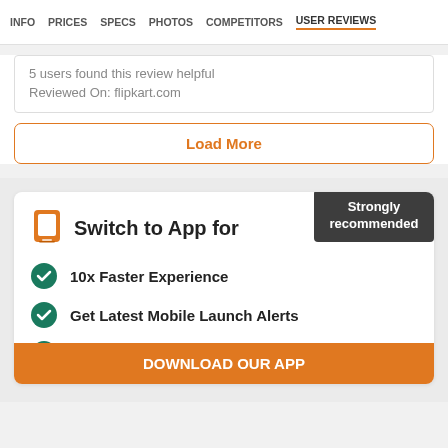INFO  PRICES  SPECS  PHOTOS  COMPETITORS  USER REVIEWS
5 users found this review helpful
Reviewed On: flipkart.com
Load More
Switch to App for
Strongly recommended
10x Faster Experience
Get Latest Mobile Launch Alerts
Instant Price Drop Notifications
DOWNLOAD OUR APP